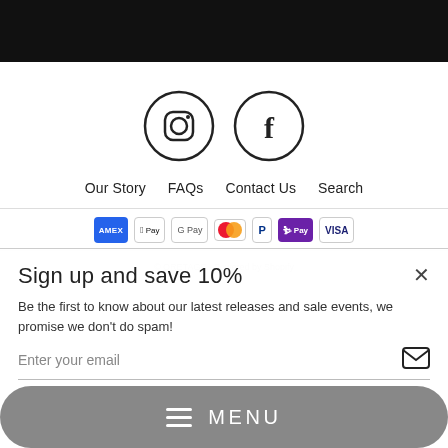[Figure (screenshot): Black header bar at top of page]
[Figure (illustration): Instagram and Facebook social media icons in circles]
Our Story   FAQs   Contact Us   Search
[Figure (illustration): Payment method icons: Amex, Apple Pay, Google Pay, Mastercard, PayPal, Shop Pay, Visa]
Sign up and save 10%
Be the first to know about our latest releases and sale events, we promise we don't do spam!
Enter your email
MENU